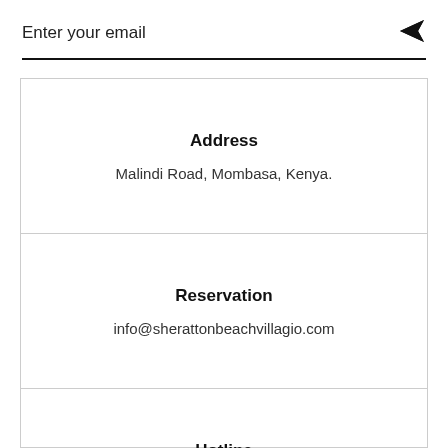Enter your email
Address
Malindi Road, Mombasa, Kenya.
Reservation
info@sherattonbeachvillagio.com
Hotline
+ 254 745 292 966